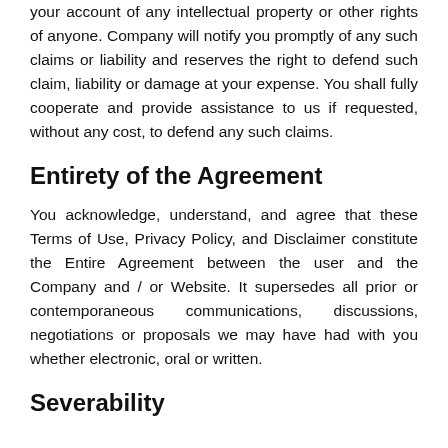your account of any intellectual property or other rights of anyone. Company will notify you promptly of any such claims or liability and reserves the right to defend such claim, liability or damage at your expense. You shall fully cooperate and provide assistance to us if requested, without any cost, to defend any such claims.
Entirety of the Agreement
You acknowledge, understand, and agree that these Terms of Use, Privacy Policy, and Disclaimer constitute the Entire Agreement between the user and the Company and / or Website. It supersedes all prior or contemporaneous communications, discussions, negotiations or proposals we may have had with you whether electronic, oral or written.
Severability